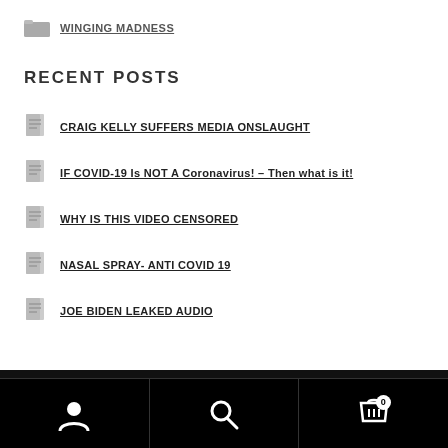WINGING MADNESS
RECENT POSTS
CRAIG KELLY SUFFERS MEDIA ONSLAUGHT
IF COVID-19 Is NOT A Coronavirus! – Then what is it!
WHY IS THIS VIDEO CENSORED
NASAL SPRAY- ANTI COVID 19
JOE BIDEN LEAKED AUDIO
Navigation footer with user, search, and cart (0) icons